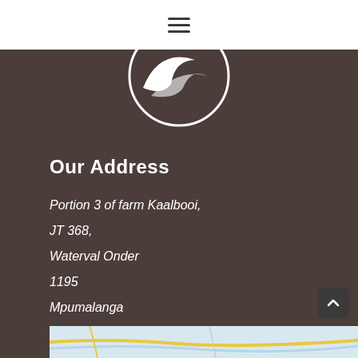≡ (hamburger menu icon)
[Figure (logo): Circular logo with a crescent/bird wing shape in white on dark brown background]
Our Address
Portion 3 of farm Kaalbooi,
JT 368,
Waterval Onder
1195
Mpumalanga
South Africa
[Figure (map): Map preview at the bottom of the page showing road/street map with yellow and blue lines]